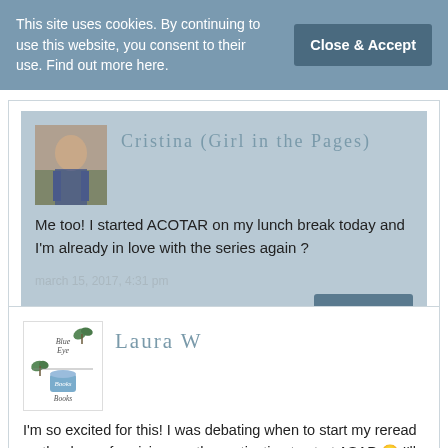This site uses cookies. By continuing to use this website, you consent to their use. Find out more here.
Close & Accept
Cristina (Girl in the Pages)
Me too! I started ACOTAR on my lunch break today and I'm already in love with the series again ?
march 15, 2017, 4:31 pm
Reply
Laura W
I'm so excited for this! I was debating when to start my reread so thank you for giving me the motivation to start ASAP 😊 I'll definitely be around Twitter for the next few months!
laura @BlueEyeBooks